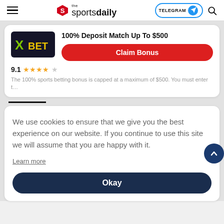the sportsdaily | TELEGRAM | Search
[Figure (logo): XBet logo - dark background with green X and yellow BET text]
100% Deposit Match Up To $500
Claim Bonus
9.1 ★★★★☆
The 100% sports betting bonus is capped at a maximum of $500. You must enter t...
We use cookies to ensure that we give you the best experience on our website. If you continue to use this site we will assume that you are happy with it.
Learn more
Okay